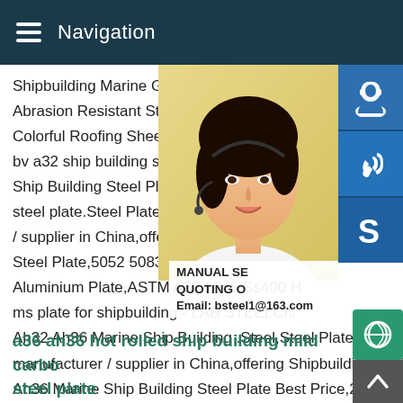Navigation
Shipbuilding Marine Grade Steel Plate,Ho Abrasion Resistant Steel Wear Plate,Prep Colorful Roofing Sheet for Greenhouse an bv a32 ship building steel plate - A36 Chin Ship Building Steel Plate carbon mild stee steel plate.Steel Plate,Marine Steel Plate,S / supplier in China,offering ABS Ah36 Mari Steel Plate,5052 5083 6011 Marine Grade Aluminium Plate,ASTM A36 1045 Ss400 H ms plate for shipbuilding - LAB STEELChi Ah32 Ah36 Marine Ship Building .Steel,Steel Plate,Marine Steel manufacturer / supplier in China,offering Shipbuilding ABS Ah32 Ah36 Marine Ship Building Steel Plate Best Price,2.8/2.8 5.6/5.6 Tin Coating Electrolytic Tinplate Sheet,Sgc570 Hot
[Figure (photo): Woman with headset smiling, customer service representative]
MANUAL SE QUOTING O Email: bsteel1@163.com
a36 ah36 hot rolled ship building mild carbo steel plate